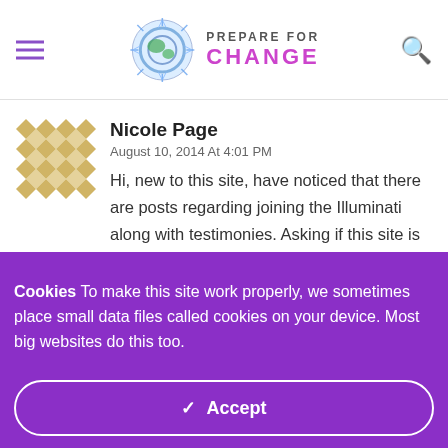Prepare For Change
Nicole Page
August 10, 2014 At 4:01 PM
Hi, new to this site, have noticed that there are posts regarding joining the Illuminati along with testimonies. Asking if this site is connected to the Illuminati in any way.
Cookies To make this site work properly, we sometimes place small data files called cookies on your device. Most big websites do this too.
✓ Accept
Change Settings ⚙